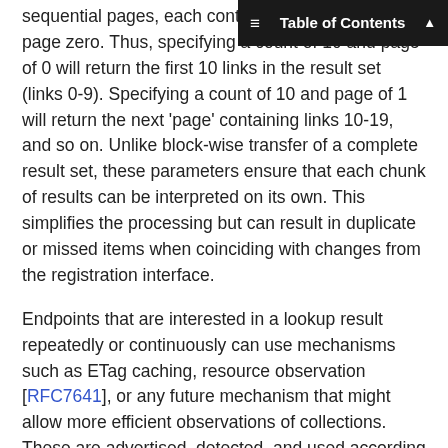Table of Contents
sequential pages, each containing link zero and page zero. Thus, specifying a count of 10 and page of 0 will return the first 10 links in the result set (links 0-9). Specifying a count of 10 and page of 1 will return the next 'page' containing links 10-19, and so on. Unlike block-wise transfer of a complete result set, these parameters ensure that each chunk of results can be interpreted on its own. This simplifies the processing but can result in duplicate or missed items when coinciding with changes from the registration interface.
Endpoints that are interested in a lookup result repeatedly or continuously can use mechanisms such as ETag caching, resource observation [RFC7641], or any future mechanism that might allow more efficient observations of collections. These are advertised, detected, and used according to their own specifications and can be used with the lookup interface as with any other resource.
When resource observation is used, every time the set of matching links changes or the content of a matching link